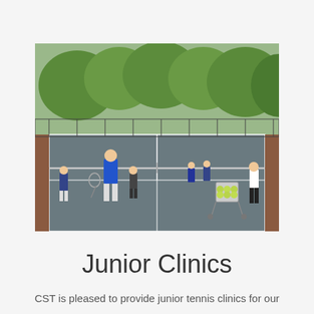[Figure (photo): Outdoor tennis court scene with a coach in blue shirt and white shorts leading a junior tennis clinic. Several children are visible on court, with a ball cart full of tennis balls on the right side. Trees are visible in the background.]
Junior Clinics
CST is pleased to provide junior tennis clinics for our